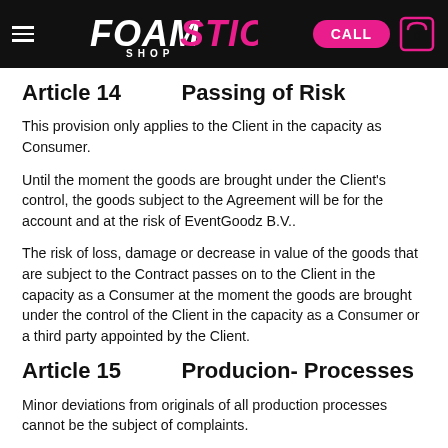FOAMSTICK SHOP — CALL — 0
Article 14      Passing of Risk
This provision only applies to the Client in the capacity as Consumer.
Until the moment the goods are brought under the Client's control, the goods subject to the Agreement will be for the account and at the risk of EventGoodz B.V..
The risk of loss, damage or decrease in value of the goods that are subject to the Contract passes on to the Client in the capacity as a Consumer at the moment the goods are brought under the control of the Client in the capacity as a Consumer or a third party appointed by the Client.
Article 15      Producion- Processes
Minor deviations from originals of all production processes cannot be the subject of complaints.